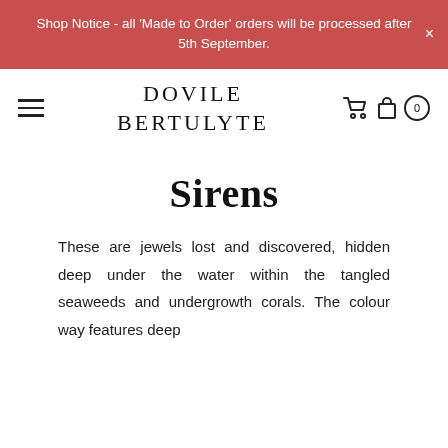Shop Notice - all 'Made to Order' orders will be processed after 5th September.
DOVILE BERTULYTE
Sirens
These are jewels lost and discovered, hidden deep under the water within the tangled seaweeds and undergrowth corals. The colour way features deep